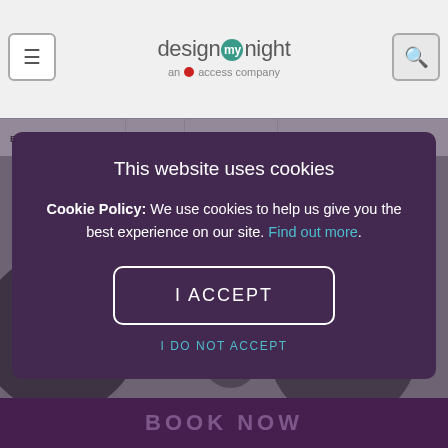designmynight — an access company
BEST RESTAURANTS   BLOG   FOOD EVENTS   GIF
[Figure (screenshot): Blurred background showing dark circular plate/bowl shapes on a grey background]
This website uses cookies
Cookie Policy: We use cookies to help us give you the best experience on our site. Find out more.
I ACCEPT
I DO NOT ACCEPT
BOOK NOW